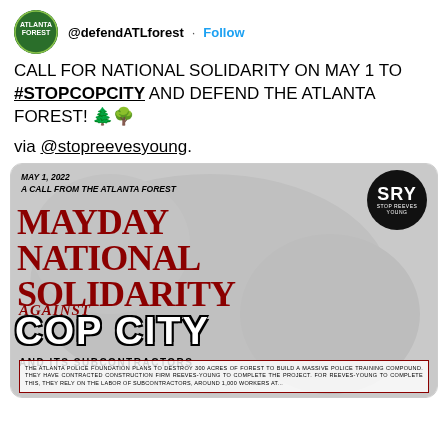[Figure (screenshot): Twitter/X profile avatar for @defendATLforest — circular green logo with 'Atlanta Forest' text]
@defendATLforest · Follow
CALL FOR NATIONAL SOLIDARITY ON MAY 1 TO #STOPCOPCITY AND DEFEND THE ATLANTA FOREST! 🌲🌳
via @stopreevesyoung.
[Figure (infographic): Embedded flyer card: MAY 1, 2022 A CALL FROM THE ATLANTA FOREST. Large text reads MAYDAY NATIONAL SOLIDARITY AGAINST COP CITY AND ITS SUBCONTRACTORS. SRY (Stop Reeves Young) logo in black circle top right. Bottom box: THE ATLANTA POLICE FOUNDATION PLANS TO DESTROY 300 ACRES OF FOREST TO BUILD A MASSIVE POLICE TRAINING COMPOUND. THEY HAVE CONTRACTED CONSTRUCTION FIRM REEVES-YOUNG TO COMPLETE THE PROJECT. FOR REEVES-YOUNG TO COMPLETE THIS, THEY RELY ON THE LABOR OF SUBCONTRACTORS, AROUND 1,000 WORKERS AT ...]